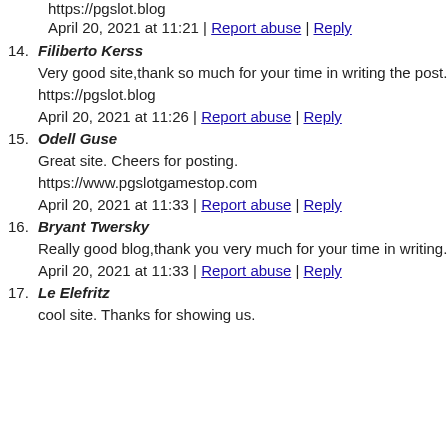https://pgslot.blog
April 20, 2021 at 11:21 | Report abuse | Reply
14. Filiberto Kerss
Very good site,thank so much for your time in writing the post.
https://pgslot.blog
April 20, 2021 at 11:26 | Report abuse | Reply
15. Odell Guse
Great site. Cheers for posting.
https://www.pgslotgamestop.com
April 20, 2021 at 11:33 | Report abuse | Reply
16. Bryant Twersky
Really good blog,thank you very much for your time in writing.
April 20, 2021 at 11:33 | Report abuse | Reply
17. Le Elefritz
cool site. Thanks for showing us.